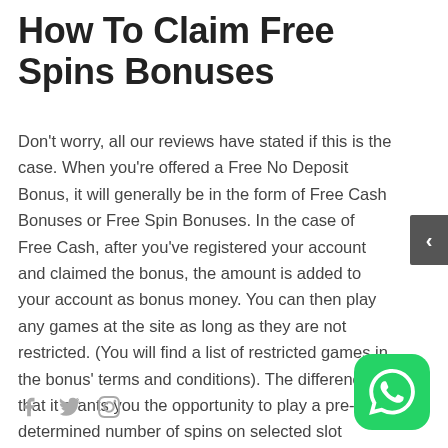How To Claim Free Spins Bonuses
Don't worry, all our reviews have stated if this is the case. When you're offered a Free No Deposit Bonus, it will generally be in the form of Free Cash Bonuses or Free Spin Bonuses. In the case of Free Cash, after you've registered your account and claimed the bonus, the amount is added to your account as bonus money. You can then play any games at the site as long as they are not restricted. (You will find a list of restricted games in the bonus' terms and conditions). The difference is that it grants you the opportunity to play a pre-determined number of spins on selected slot machines.